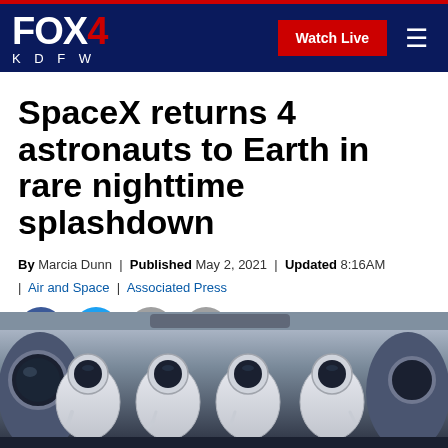FOX 4 KDFW | Watch Live
SpaceX returns 4 astronauts to Earth in rare nighttime splashdown
By Marcia Dunn | Published May 2, 2021 | Updated 8:16AM | Air and Space | Associated Press
[Figure (illustration): Social media share icons: Facebook, Twitter, Print, Email]
[Figure (photo): Four astronauts in white SpaceX spacesuits seated inside a spacecraft, making thumbs up and peace signs gestures after splashdown]